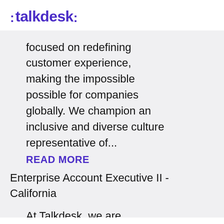[Figure (logo): Talkdesk logo in purple/violet color]
focused on redefining customer experience, making the impossible possible for companies globally. We champion an inclusive and diverse culture representative of...
READ MORE
Enterprise Account Executive II - California
At Talkdesk, we are courageous innovators focused on redefining customer experience, making the impossible possible for companies